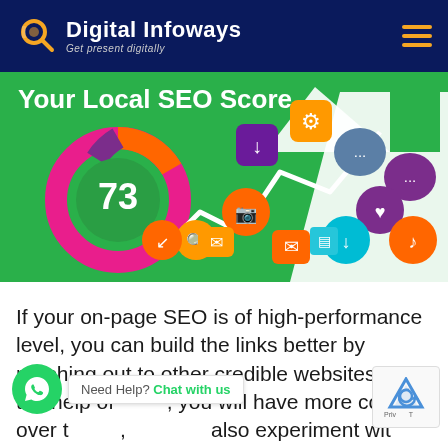Digital Infoways – Get present digitally
[Figure (infographic): Green background infographic showing 'Your Local SEO Score' with a donut chart showing score of 73, a rising white arrow chart, and various colorful social media / digital marketing icons (settings, chat bubbles, camera, mail, heart, download, music note, etc.)]
If your on-page SEO is of high-performance level, you can build the links better by reaching out to other credible websites. With the help of [page], you will have more control over th[e] [pa]g[e], [and] you [can] also experiment with strategies.